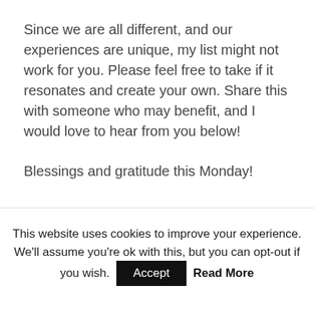Since we are all different, and our experiences are unique, my list might not work for you. Please feel free to take if it resonates and create your own. Share this with someone who may benefit, and I would love to hear from you below!
Blessings and gratitude this Monday!
Blog, Grief and Loss
< Return to happy by planting financial seeds
This website uses cookies to improve your experience. We'll assume you're ok with this, but you can opt-out if you wish. Accept Read More